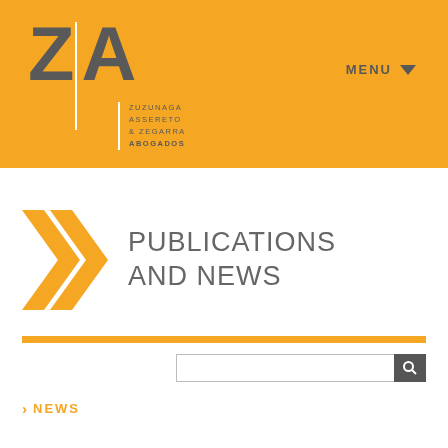[Figure (logo): ZA logo with large Z|A letters and firm name ZUZUNAGA ASSERETO & ZEGARRA ABOGADOS on orange background with MENU dropdown]
PUBLICATIONS AND NEWS
[Figure (other): Orange horizontal bar separator]
[Figure (other): Search input box with magnifying glass icon]
> NEWS